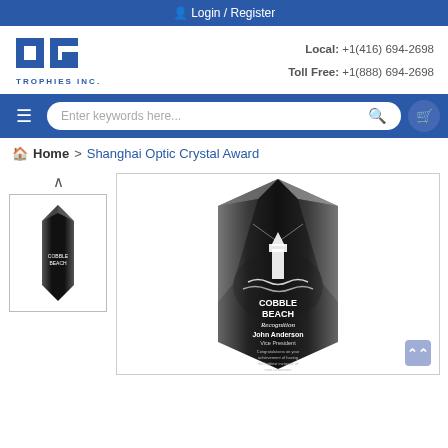Login / Register
[Figure (logo): DG Trophies Inc. logo - blue stylized DG letters with TROPHIES INC. text below]
Local: +1(416) 694-2698
Toll Free: +1(888) 694-2698
Enter keywords here...
Home > Shanghai Optic Crystal Award
[Figure (photo): Small thumbnail of Shanghai Optic Crystal Award trophy - black crystal award with lighthouse engraving]
[Figure (photo): Large main product image of Shanghai Optic Crystal Award - black optic crystal award with lighthouse engraving showing COBBLE BEACH Recognition John Anderson Vice President text]